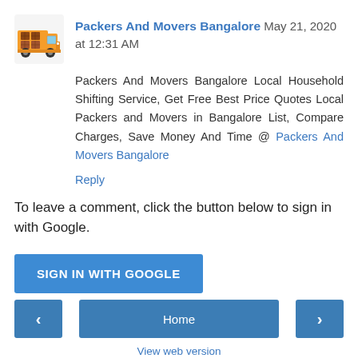[Figure (illustration): Cartoon truck avatar/icon for Packers And Movers Bangalore commenter]
Packers And Movers Bangalore May 21, 2020 at 12:31 AM
Packers And Movers Bangalore Local Household Shifting Service, Get Free Best Price Quotes Local Packers and Movers in Bangalore List, Compare Charges, Save Money And Time @ Packers And Movers Bangalore
Reply
To leave a comment, click the button below to sign in with Google.
SIGN IN WITH GOOGLE
‹
Home
›
View web version
Powered by Blogger.